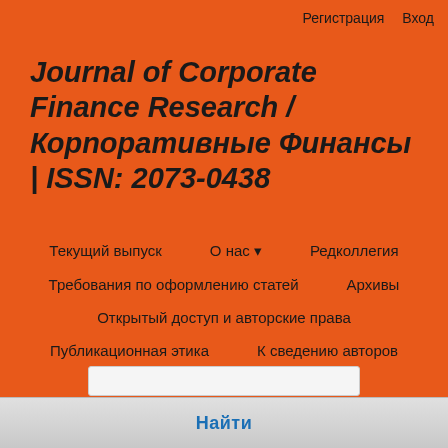Регистрация  Вход
Journal of Corporate Finance Research / Корпоративные Финансы | ISSN: 2073-0438
Текущий выпуск
О нас
Редколлегия
Требования по оформлению статей
Архивы
Открытый доступ и авторские права
Публикационная этика
К сведению авторов
Объявления